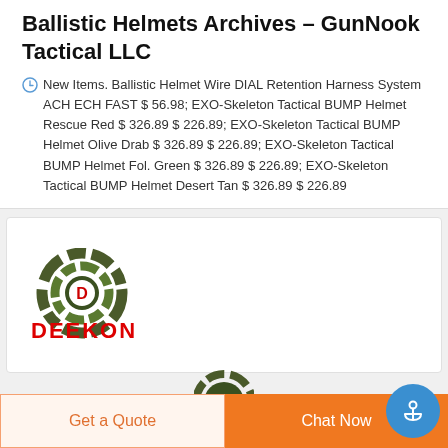Ballistic Helmets Archives - GunNook Tactical LLC
New Items. Ballistic Helmet Wire DIAL Retention Harness System ACH ECH FAST $ 56.98; EXO-Skeleton Tactical BUMP Helmet Rescue Red $ 326.89 $ 226.89; EXO-Skeleton Tactical BUMP Helmet Olive Drab $ 326.89 $ 226.89; EXO-Skeleton Tactical BUMP Helmet Fol. Green $ 326.89 $ 226.89; EXO-Skeleton Tactical BUMP Helmet Desert Tan $ 326.89 $ 226.89
[Figure (logo): DEEKON brand logo with circular camouflage pattern icon above bold red DEEKON text]
Get a Quote
Chat Now